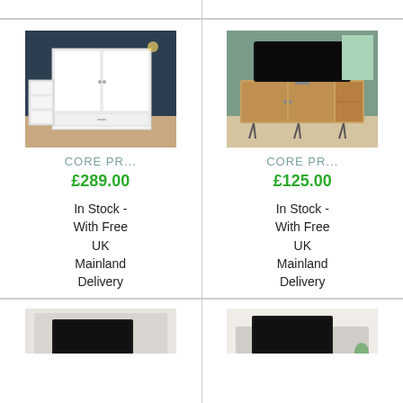[Figure (photo): White wardrobe with two doors and two drawers in a bedroom setting]
CORE PR...
£289.00
In Stock - With Free UK Mainland Delivery
[Figure (photo): Wooden TV unit with hairpin legs and open shelves in a green-walled room]
CORE PR...
£125.00
In Stock - With Free UK Mainland Delivery
[Figure (photo): Light grey TV media wall unit with shelves]
[Figure (photo): Grey TV stand with shelving in a bright room]